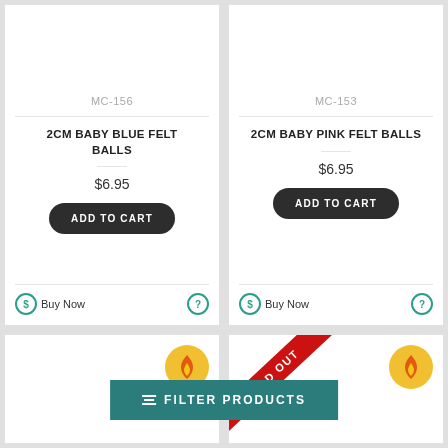MC-156
2CM BABY BLUE FELT BALLS
$6.95
ADD TO CART
Buy Now
MC-153
2CM BABY PINK FELT BALLS
$6.95
ADD TO CART
Buy Now
[Figure (illustration): Hot/trending badge - yellow circle with flame icon, bottom-left product card]
[Figure (illustration): SOLD OUT red diagonal ribbon banner on bottom-right product card]
[Figure (illustration): Hot/trending badge - yellow circle with flame icon, bottom-right product card]
FILTER PRODUCTS